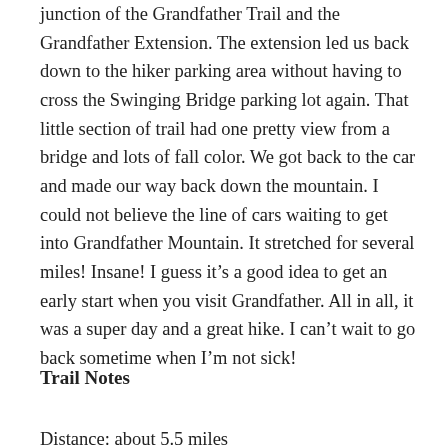junction of the Grandfather Trail and the Grandfather Extension.  The extension led us back down to the hiker parking area without having to cross the Swinging Bridge parking lot again.  That little section of trail had one pretty view from a bridge and lots of fall color.  We got back to the car and made our way back down the mountain.  I could not believe the line of cars waiting to get into Grandfather Mountain.  It stretched for several miles!  Insane!  I guess it’s a good idea to get an early start when you visit Grandfather.  All in all, it was a super day and a great hike.  I can’t wait to go back sometime when I’m not sick!
Trail Notes
Distance: about 5.5 miles